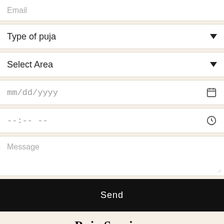Email
Type of puja
Select Area
mm/dd/yyyy
--:-- --
Message
Send
Puja Services
[Figure (photo): A photo showing people performing or attending a puja ceremony, visible from below a cropped view.]